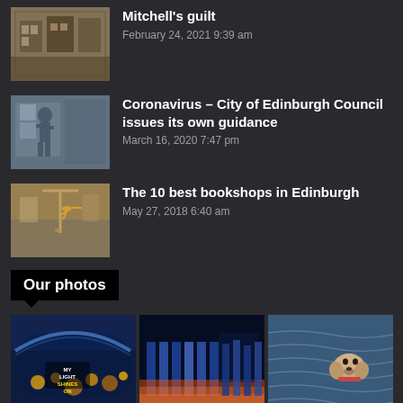Mitchell's guilt — February 24, 2021 9:39 am
Coronavirus – City of Edinburgh Council issues its own guidance — March 16, 2020 7:47 pm
The 10 best bookshops in Edinburgh — May 27, 2018 6:40 am
Our photos
[Figure (photo): Grid of three photos: illuminated building with MY LIGHT SHINES ON text, blue-lit modern building with columns, dog swimming in water]
[Figure (photo): Blue-lit modern building with vertical columns]
[Figure (photo): Dog swimming in water]